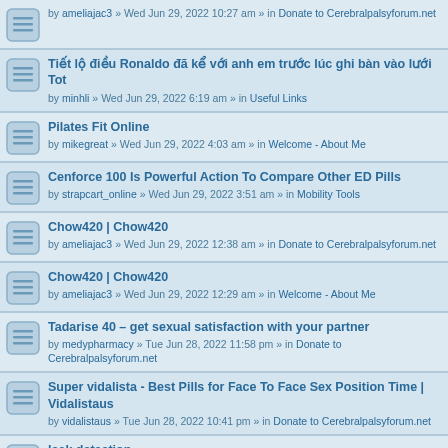by ameliajac3 » Wed Jun 29, 2022 10:27 am » in Donate to Cerebralpalsyforum.net
Tiết lộ điều Ronaldo đã kể với anh em trước lúc ghi bàn vào lưới Tot
by minhli » Wed Jun 29, 2022 6:19 am » in Useful Links
Pilates Fit Online
by mikegreat » Wed Jun 29, 2022 4:03 am » in Welcome - About Me
Cenforce 100 Is Powerful Action To Compare Other ED Pills
by strapcart_online » Wed Jun 29, 2022 3:51 am » in Mobility Tools
Chow420 | Chow420
by ameliajac3 » Wed Jun 29, 2022 12:38 am » in Donate to Cerebralpalsyforum.net
Chow420 | Chow420
by ameliajac3 » Wed Jun 29, 2022 12:29 am » in Welcome - About Me
Tadarise 40 – get sexual satisfaction with your partner
by medypharmacy » Tue Jun 28, 2022 11:58 pm » in Donate to Cerebralpalsyforum.net
Super vidalista - Best Pills for Face To Face Sex Position Time | Vidalistaus
by vidalistaus » Tue Jun 28, 2022 10:41 pm » in Donate to Cerebralpalsyforum.net
leak detection
by saidsamir » Tue Jun 28, 2022 10:52 am » in Useful Links
London Apostille Service Ltd.
by mikegreat » Tue Jun 28, 2022 10:26 am » in Welcome - About Me
seo